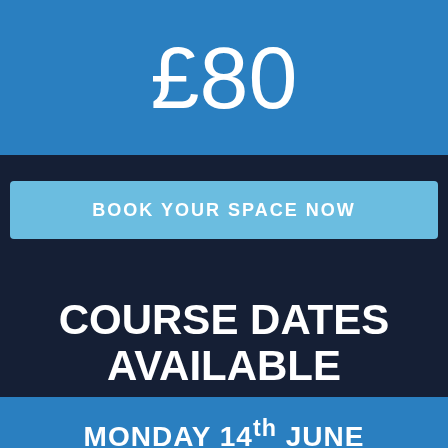£80
BOOK YOUR SPACE NOW
COURSE DATES AVAILABLE
MONDAY 14th JUNE
Call us on 01489 581755 to discuss